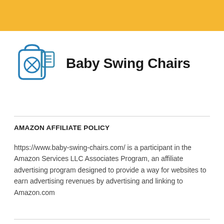[Figure (logo): Baby Swing Chairs logo with a baby swing icon in blue and teal, and the text 'Baby Swing Chairs' in bold black]
AMAZON AFFILIATE POLICY
https://www.baby-swing-chairs.com/ is a participant in the Amazon Services LLC Associates Program, an affiliate advertising program designed to provide a way for websites to earn advertising revenues by advertising and linking to Amazon.com